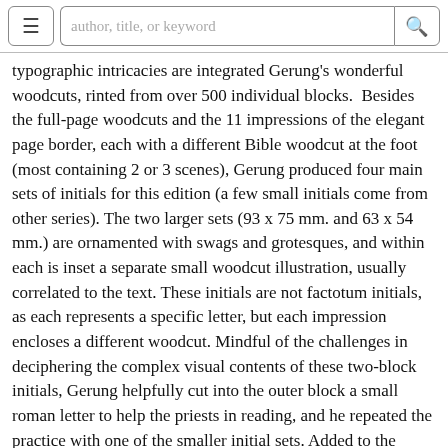author, title, or keyword
typographic intricacies are integrated Gerung's wonderful woodcuts, rinted from over 500 individual blocks.  Besides the full-page woodcuts and the 11 impressions of the elegant page border, each with a different Bible woodcut at the foot (most containing 2 or 3 scenes), Gerung produced four main sets of initials for this edition (a few small initials come from other series). The two larger sets (93 x 75 mm. and 63 x 54 mm.) are ornamented with swags and grotesques, and within each is inset a separate small woodcut illustration, usually correlated to the text. These initials are not factotum initials, as each represents a specific letter, but each impression encloses a different woodcut. Mindful of the challenges in deciphering the complex visual contents of these two-block initials, Gerung helpfully cut into the outer block a small roman letter to help the priests in reading, and he repeated the practice with one of the smaller initial sets. Added to the initials are many small